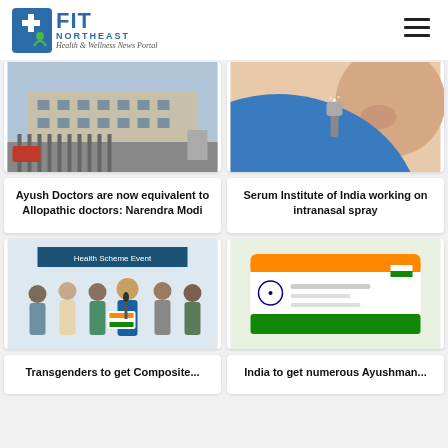FIT NORTHEAST — Health & Wellness News Portal
[Figure (photo): A building exterior with gate and cars, appears to be a government or hospital building]
Ayush Doctors are now equivalent to Allopathic doctors: Narendra Modi
[Figure (photo): Close-up of a medical professional in blue gloves administering an intranasal spray to a patient]
Serum Institute of India working on intranasal spray
[Figure (photo): Group of people at an event, a woman holding a card/certificate, government health scheme event]
Transgenders to get Composite...
[Figure (photo): Partial image visible at bottom right, Ayushman card scheme related]
India to get numerous Ayushman...